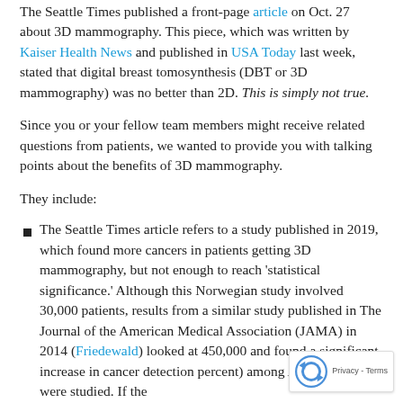The Seattle Times published a front-page article on Oct. 27 about 3D mammography. This piece, which was written by Kaiser Health News and published in USA Today last week, stated that digital breast tomosynthesis (DBT or 3D mammography) was no better than 2D. This is simply not true.
Since you or your fellow team members might receive related questions from patients, we wanted to provide you with talking points about the benefits of 3D mammography.
They include:
The Seattle Times article refers to a study published in 2019, which found more cancers in patients getting 3D mammography, but not enough to reach 'statistical significance.' Although this Norwegian study involved 30,000 patients, results from a similar study published in The Journal of the American Medical Association (JAMA) in 2014 (Friedewald) looked at 450,000 and found a significant increase in cancer detection percent) among Americans who were studied. If the